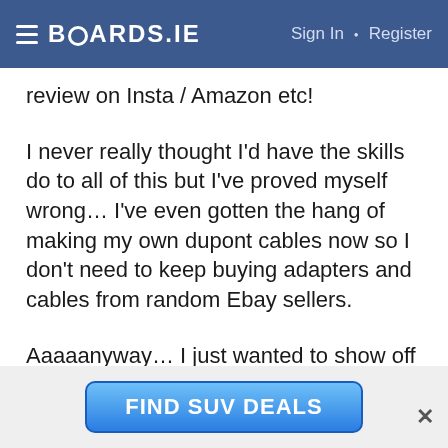BOARDS.IE  Sign In · Register
review on Insta / Amazon etc!
I never really thought I'd have the skills do to all of this but I've proved myself wrong… I've even gotten the hang of making my own dupont cables now so I don't need to keep buying adapters and cables from random Ebay sellers.
Aaaaanyway… I just wanted to show off something that I did last night. So I ordered a replacement transparent shell for my Sega Dreamcast a little while ago and replaced the LED on the power board from red to blue
[Figure (other): FIND SUV DEALS advertisement button with close (×) button]